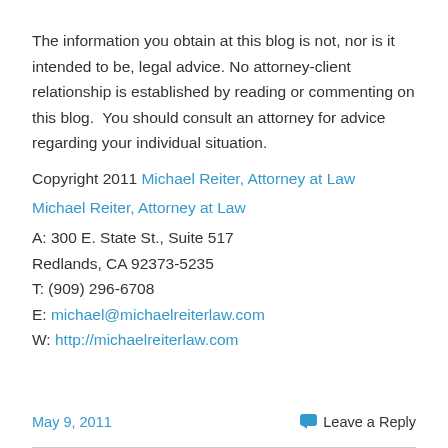The information you obtain at this blog is not, nor is it intended to be, legal advice. No attorney-client relationship is established by reading or commenting on this blog.  You should consult an attorney for advice regarding your individual situation.
Copyright 2011 Michael Reiter, Attorney at Law
Michael Reiter, Attorney at Law
A: 300 E. State St., Suite 517
Redlands, CA 92373-5235
T: (909) 296-6708
E: michael@michaelreiterlaw.com
W: http://michaelreiterlaw.com
May 9, 2011    Leave a Reply